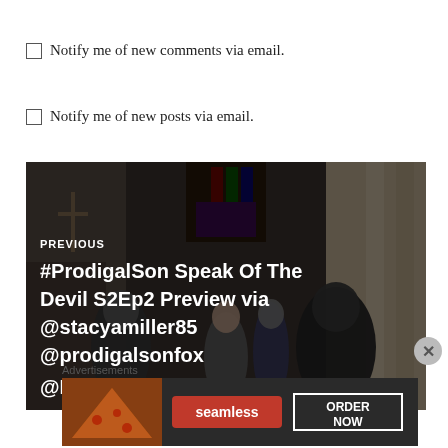Notify me of new comments via email.
Notify me of new posts via email.
[Figure (photo): A photo of people walking inside a church, used as a navigation card background. Overlay text reads PREVIOUS #ProdigalSon Speak Of The Devil S2Ep2 Preview via @stacyamiller85 @prodigalsonfox @ProdigalWriters]
Advertisements
[Figure (photo): Seamless food delivery advertisement banner showing pizza and ORDER NOW button]